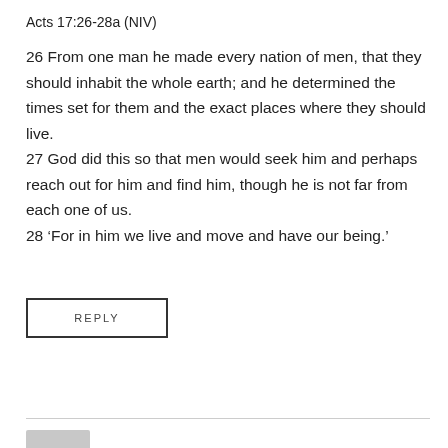Acts 17:26-28a (NIV)
26 From one man he made every nation of men, that they should inhabit the whole earth; and he determined the times set for them and the exact places where they should live.
27 God did this so that men would seek him and perhaps reach out for him and find him, though he is not far from each one of us.
28 ‘For in him we live and move and have our being.’
REPLY